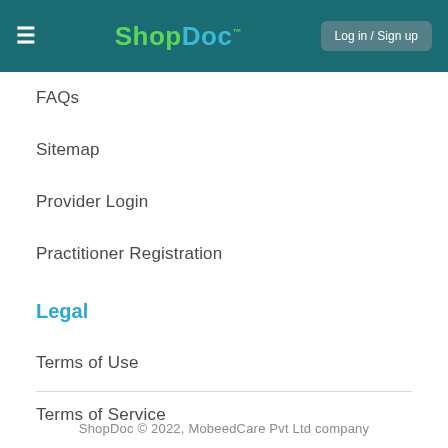ShopDoc™ — Log in / Sign up
FAQs
Sitemap
Provider Login
Practitioner Registration
Legal
Terms of Use
Terms of Service
Data Privacy Policy
ShopDoc © 2022, MobeedCare Pvt Ltd company